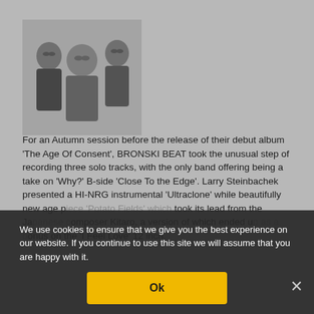[Figure (photo): Black and white photograph of three young men, members of Bronski Beat, posed together in casual jackets]
For an Autumn session before the release of their debut album ‘The Age Of Consent’, BRONSKI BEAT took the unusual step of recording three solo tracks, with the only band offering being a take on ‘Why?’ B-side ‘Close To the Edge’. Larry Steinbachek presented a HI-NRG instrumental ‘Ultraclone’ while beautifully new age piece ‘Potato Fields’ which took its lead from the Japanese composer Kitaro, a version of which ended up as a bonus on the ‘I Feel Love’ 12 inch.
We use cookies to ensure that we give you the best experience on our website. If you continue to use this site we will assume that you are happy with it.